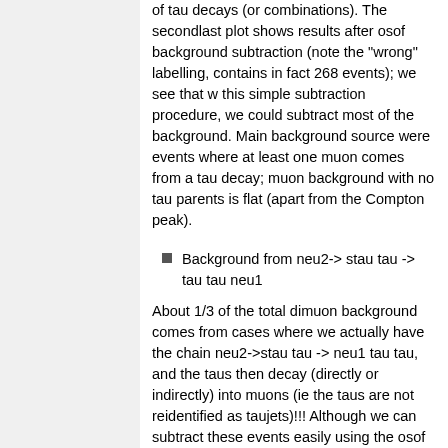of tau decays (or combinations). The secondlast plot shows results after osof background subtraction (note the "wrong" labelling, contains in fact 268 events); we see that w this simple subtraction procedure, we could subtract most of the background. Main background source were events where at least one muon comes from a tau decay; muon background with no tau parents is flat (apart from the Compton peak).
Background from neu2-> stau tau -> tau tau neu1
About 1/3 of the total dimuon background comes from cases where we actually have the chain neu2->stau tau -> neu1 tau tau, and the taus then decay (directly or indirectly) into muons (ie the taus are not reidentified as taujets)!!! Although we can subtract these events easily using the osof subtraction, it clearly means that (s)taus need to be treated w more care (needs further investigation). In total, about 2/3 of the dimuon background events